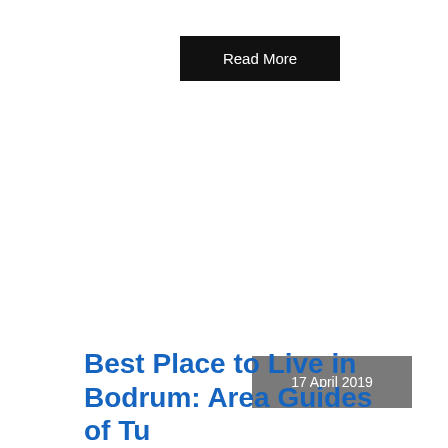Read More
17 April 2019
Best Place to Live in Bodrum: Area Guides of Tu...